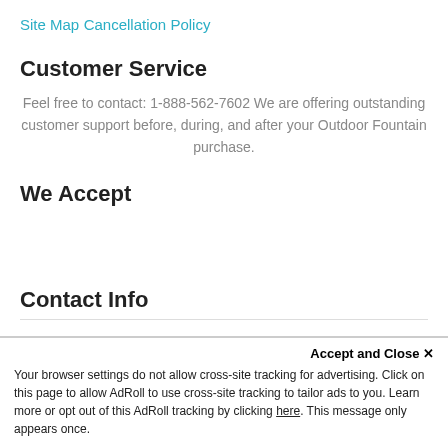Site Map
Cancellation Policy
Customer Service
Feel free to contact: 1-888-562-7602 We are offering outstanding customer support before, during, and after your Outdoor Fountain purchase.
We Accept
Contact Info
Accept and Close ✕
Your browser settings do not allow cross-site tracking for advertising. Click on this page to allow AdRoll to use cross-site tracking to tailor ads to you. Learn more or opt out of this AdRoll tracking by clicking here. This message only appears once.